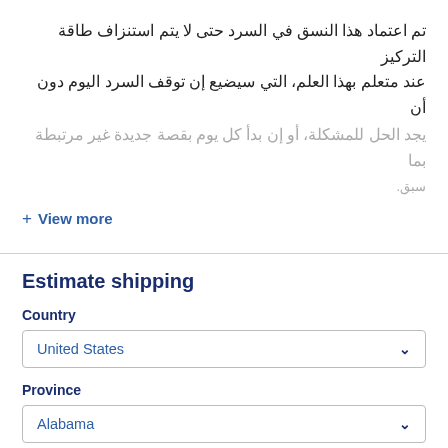تم اعتماد هذا النسق في السرد حتى لا يتم استنزاف طاقة التركيز عند متعلم بهذا العلم، التي سيضيع إن توقف السرد اليوم دون أن يجد الحل للمشكلة، أو إن بدأ كل يوم بقصة جديدة غير مرتبطة بما سبق.
View more
Estimate shipping
Country
United States
Province
Alabama